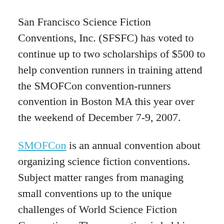San Francisco Science Fiction Conventions, Inc. (SFSFC) has voted to continue up to two scholarships of $500 to help convention runners in training attend the SMOFCon convention-runners convention in Boston MA this year over the weekend of December 7-9, 2007.
SMOFCon is an annual convention about organizing science fiction conventions. Subject matter ranges from managing small conventions up to the unique challenges of World Science Fiction Conventions. The convention is held in a different city each year. The 2007 SMOFCon will be in Boston MA at the target="_blank">Hilton Boston Logan Airport. More information about this year's SMOFCon is available on their web site.
The scholarships are open to anyone involved in running